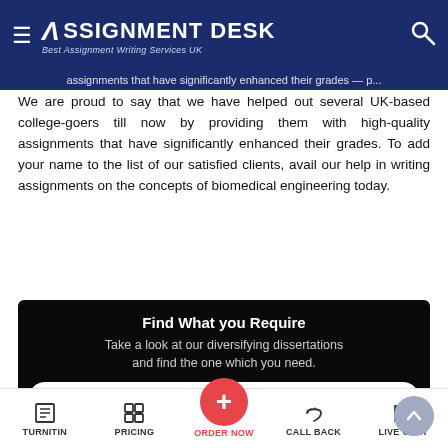Assignment Desk - Best Assignment Writing Services UK
We are proud to say that we have helped out several UK-based college-goers till now by providing them with high-quality assignments that have significantly enhanced their grades. To add your name to the list of our satisfied clients, avail our help in writing assignments on the concepts of biomedical engineering today.
Find What you Require
Take a look at our diversifying dissertations and find the one which you need.
Primary Homework Help
MBA Dissertation
TURNITIN | PRICING | ORDER NOW | CALL BACK | LIVE CHAT